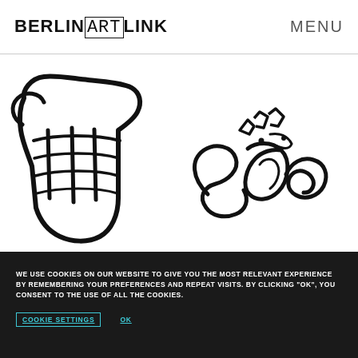BERLINARTLINK   MENU
[Figure (illustration): Artwork image on white background showing a black and white line drawing: on the left, a large fist/hand drawn in bold strokes; on the right, abstract script-like handwritten characters resembling stylized text or calligraphy (appears to be in a non-Latin script style).]
WE USE COOKIES ON OUR WEBSITE TO GIVE YOU THE MOST RELEVANT EXPERIENCE BY REMEMBERING YOUR PREFERENCES AND REPEAT VISITS. BY CLICKING "OK", YOU CONSENT TO THE USE OF ALL THE COOKIES.
COOKIE SETTINGS   OK